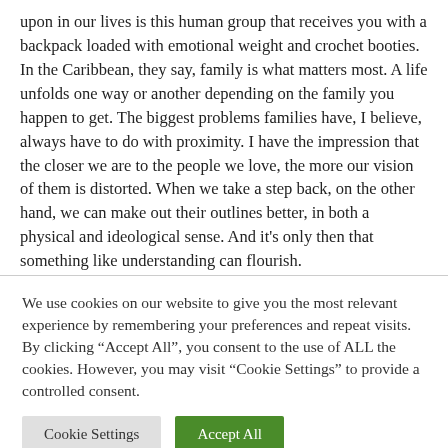upon in our lives is this human group that receives you with a backpack loaded with emotional weight and crochet booties. In the Caribbean, they say, family is what matters most. A life unfolds one way or another depending on the family you happen to get. The biggest problems families have, I believe, always have to do with proximity. I have the impression that the closer we are to the people we love, the more our vision of them is distorted. When we take a step back, on the other hand, we can make out their outlines better, in both a physical and ideological sense. And it's only then that something like understanding can flourish.
We use cookies on our website to give you the most relevant experience by remembering your preferences and repeat visits. By clicking "Accept All", you consent to the use of ALL the cookies. However, you may visit "Cookie Settings" to provide a controlled consent.